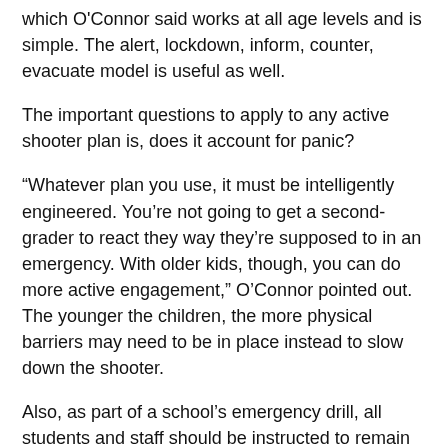which O'Connor said works at all age levels and is simple. The alert, lockdown, inform, counter, evacuate model is useful as well.
The important questions to apply to any active shooter plan is, does it account for panic?
“Whatever plan you use, it must be intelligently engineered. You’re not going to get a second-grader to react they way they’re supposed to in an emergency. With older kids, though, you can do more active engagement,” O’Connor pointed out. The younger the children, the more physical barriers may need to be in place instead to slow down the shooter.
Also, as part of a school’s emergency drill, all students and staff should be instructed to remain in place even after police arrive and until they are given permission to evacuate.